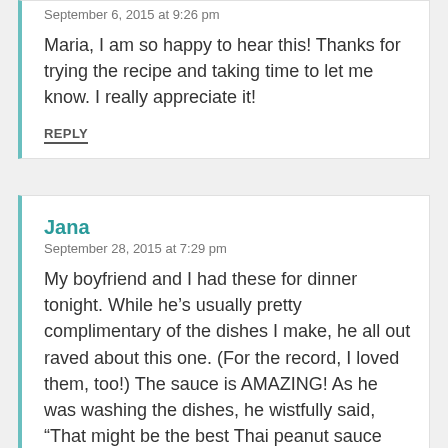September 6, 2015 at 9:26 pm
Maria, I am so happy to hear this! Thanks for trying the recipe and taking time to let me know. I really appreciate it!
REPLY
Jana
September 28, 2015 at 7:29 pm
My boyfriend and I had these for dinner tonight. While he’s usually pretty complimentary of the dishes I make, he all out raved about this one. (For the record, I loved them, too!) The sauce is AMAZING! As he was washing the dishes, he wistfully said, “That might be the best Thai peanut sauce I’ve ever had.” Thanks for a delicious and memorable dish! I’m sure it’ll